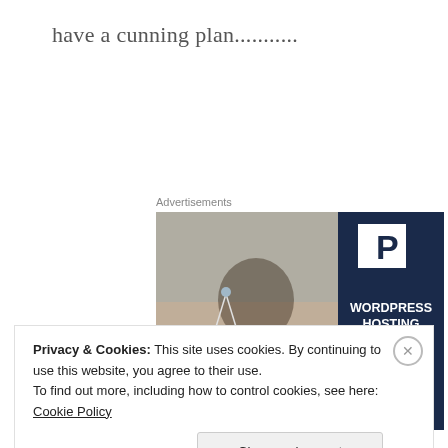have a cunning plan...........
Advertisements
[Figure (photo): WordPress hosting advertisement banner. Left half shows a woman smiling and holding an 'OPEN' sign; right half is dark navy blue with a white 'P' logo and text: WORDPRESS HOSTING THAT MEANS BUSINESS. With a LEARN MORE button at the bottom.]
Privacy & Cookies: This site uses cookies. By continuing to use this website, you agree to their use.
To find out more, including how to control cookies, see here: Cookie Policy
Close and accept